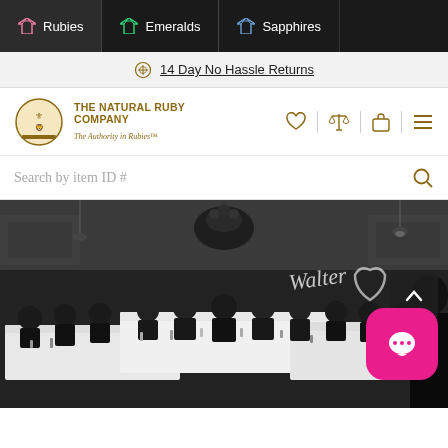Rubies | Emeralds | Sapphires
14 Day No Hassle Returns
THE NATURAL RUBY COMPANY — The Authority in Rubies™
Search by item ID #
[Figure (photo): Vintage black-and-white photograph of men in suits seated around long banquet tables in a restaurant or hall, with a cursive 'Walter' signature overlay and heart graphic]